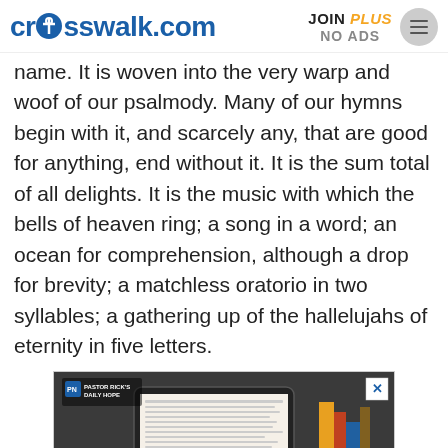crosswalk.com | JOIN PLUS NO ADS
name. It is woven into the very warp and woof of our psalmody. Many of our hymns begin with it, and scarcely any, that are good for anything, end without it. It is the sum total of all delights. It is the music with which the bells of heaven ring; a song in a word; an ocean for comprehension, although a drop for brevity; a matchless oratorio in two syllables; a gathering up of the hallelujahs of eternity in five letters.
[Figure (photo): Advertisement showing a tablet device displaying text, held by a person, with a label reading PASTOR RICK'S DAILY HOPE. A close button (X) is visible in the top right corner.]
Got 7 FREE Days